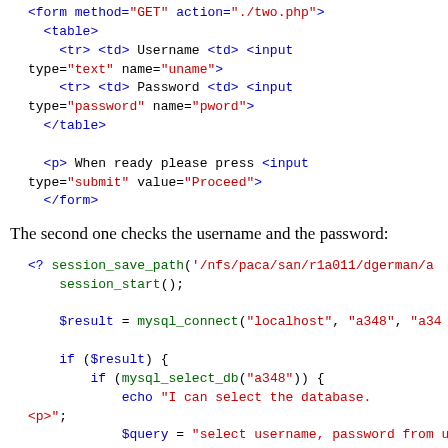<form method="GET" action="./two.php">
  <table>
    <tr> <td> Username <td> <input type="text" name="uname">
    <tr> <td> Password <td> <input type="password" name="pword">
  </table>

  <p> When ready please press <input type="submit" value="Proceed">
</form>
The second one checks the username and the password:
<? session_save_path('/nfs/paca/san/r1a011/dgerman/a
    session_start();

    $result = mysql_connect("localhost", "a348", "a34

    if ($result) {
        if (mysql_select_db("a348")) {
            echo "I can select the database. <p>";
            $query = "select username, password from user 'Suname' and password = '$pword'";
            $result = @mysql_query($query);
            if ($row = mysql_fetch_row($result)) {
                echo "(" . $row[0] . ",
" . $row[1] . ")";
                session_register("username");